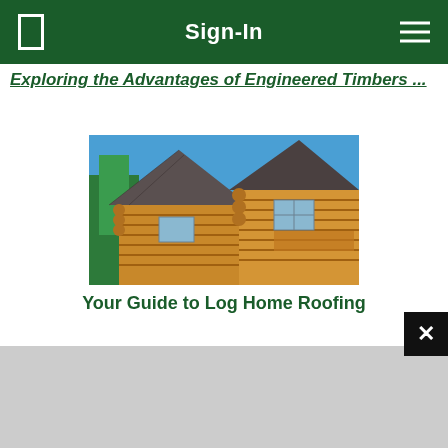Sign-In
Exploring the Advantages of Engineered Timbers ...
[Figure (photo): A log home with wood siding and a dark shingled roof against a blue sky, with trees in the background.]
Your Guide to Log Home Roofing